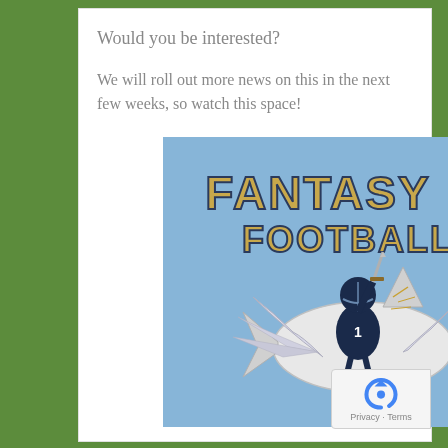Would you be interested?
We will roll out more news on this in the next few weeks, so watch this space!
[Figure (illustration): Fantasy Football illustration on light blue background. A football player in dark uniform and helmet riding a winged shark, holding a sword aloft. Text 'FANTASY FOOTBALL' in large gold/outlined letters at the top.]
[Figure (logo): reCAPTCHA badge with spinning arrow logo icon and 'Privacy - Terms' text below]